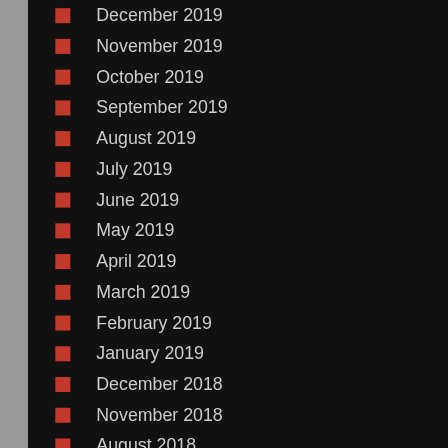December 2019
November 2019
October 2019
September 2019
August 2019
July 2019
June 2019
May 2019
April 2019
March 2019
February 2019
January 2019
December 2018
November 2018
August 2018
July 2018
June 2018
May 2018
Oregano Oil, 120 c
Clear Cold Sores,
[Figure (photo): Bottle of Clear Cold Sores Shingles & UTIs homeopathic/herbal formula product]
stomach disco
Clear Cold Sores, safe and effective n of this product are
List Price: $ 12.94
Price: $ 11.98